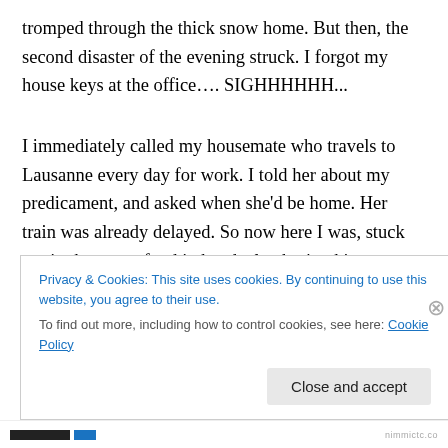tromped through the thick snow home. But then, the second disaster of the evening struck. I forgot my house keys at the office…. SIGHHHHHH...
I immediately called my housemate who travels to Lausanne every day for work. I told her about my predicament, and asked when she'd be home. Her train was already delayed. So now here I was, stuck out in the snow, food in hand, clambering kittens mewing at the door ready to greet my arrival (i.e. demanding to be fed), and I was locked out. I thought I might have to head back into
Privacy & Cookies: This site uses cookies. By continuing to use this website, you agree to their use.
To find out more, including how to control cookies, see here: Cookie Policy